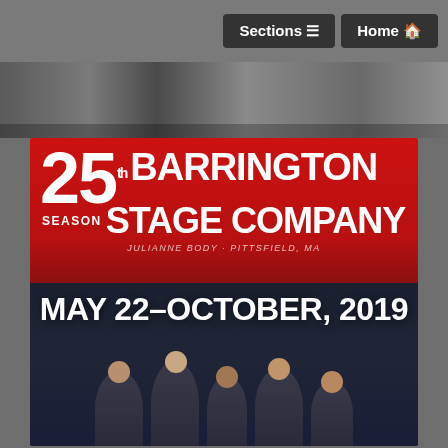Sections  Home
[Figure (photo): Partial photo strip showing blurred outdoor scene]
[Figure (illustration): Barrington Stage Company 25th Season advertisement. Red top section with large '25' and 'BARRINGTON STAGE COMPANY' text, 'SEASON' label, subtitle tagline. Dark lower section with 'MAY 22-OCTOBER, 2019' text and silhouettes of actors at bottom.]